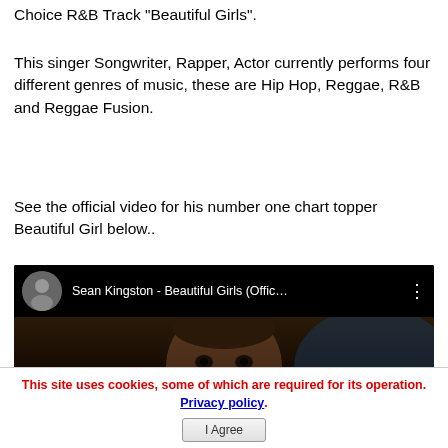Choice R&B Track 'Beautiful Girls'.
This singer Songwriter, Rapper, Actor currently performs four different genres of music, these are Hip Hop, Reggae, R&B and Reggae Fusion.
See the official video for his number one chart topper Beautiful Girl below..
[Figure (screenshot): YouTube video embed showing Sean Kingston - Beautiful Girls (Offic...) with a thumbnail of a person's face against a dark background]
This site uses cookies, some of which are required for its operation. Privacy policy. I Agree